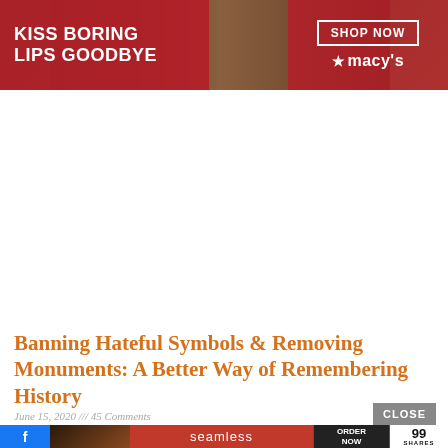[Figure (photo): Macy's advertisement banner: red background with text 'KISS BORING LIPS GOODBYE', a woman's face with red lips, and 'SHOP NOW' button with Macy's star logo]
Banning Hateful Symbols & Removing Monuments: A Better Way of Remembering History
June 15, 2020 /// 45 Comments
[Figure (screenshot): CLOSE button overlay and Seamless food delivery advertisement with pizza image, Seamless logo, ORDER NOW button, and 99 SHARES social sharing count with Facebook icon]